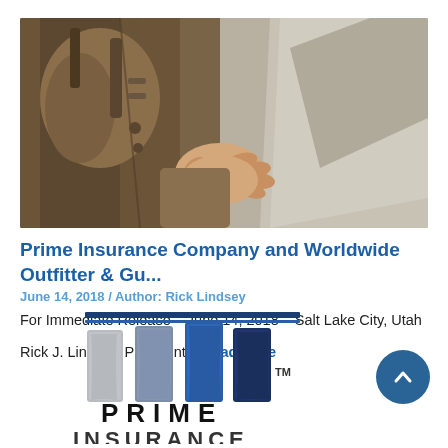[Figure (photo): Close-up photo of a person in a khaki/brown jacket reaching out with an open hand, with a rocky mountainous background]
Prime Insurance Company and Worldwide Outfitter & Gu...
June 14, 2018 / Author: Rick Lindsey
For Immediate Release – June 14, 2018 – Salt Lake City, Utah
Rick J. Lindsey, President... Read More
[Figure (logo): Prime Insurance Company logo with four vertical brush-stroke columns in shades of gray and blue, a TM mark, and the text PRIME INSURANCE in bold black letters]